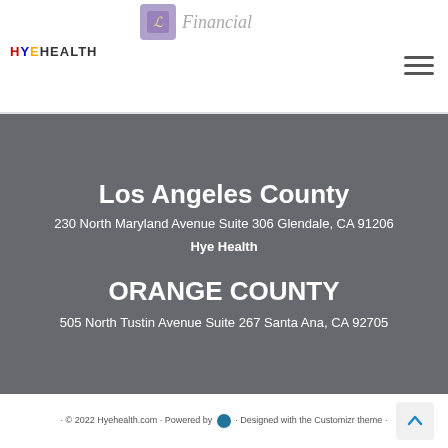HYE HEALTH / Financial logo and navigation
Los Angeles County
230 North Maryland Avenue Suite 306 Glendale, CA 91206
Hye Health
ORANGE COUNTY
505 North Tustin Avenue Suite 267 Santa Ana, CA 92705
· © 2022 Hyehealth.com · Powered by [WordPress] · Designed with the Customizr theme ·